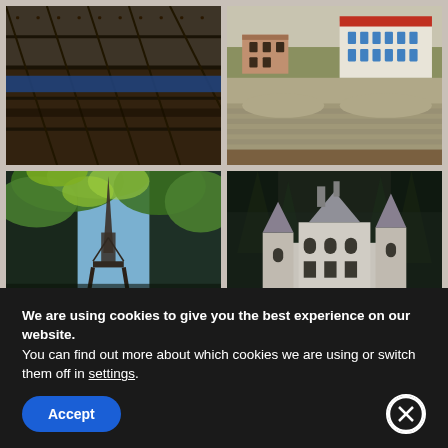[Figure (photo): Close-up view looking up at the Eiffel Tower's steel lattice structure with a blue stripe visible]
[Figure (photo): Stone fortress walls with historic buildings on top, including a pink house and a blue-shuttered building with red roof]
[Figure (photo): Looking up at the Eiffel Tower through green leafy tree branches against a blue sky]
[Figure (photo): A grand French chateau with pointed turrets surrounded by tall dark trees]
We are using cookies to give you the best experience on our website.
You can find out more about which cookies we are using or switch them off in settings.
Accept